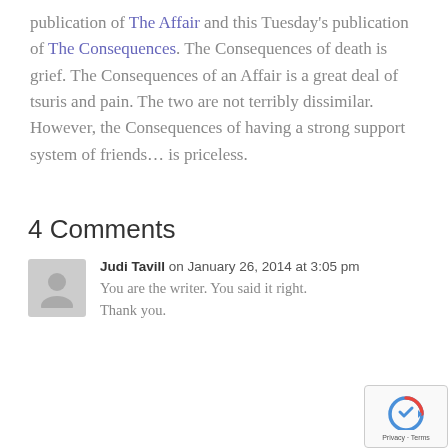publication of The Affair and this Tuesday's publication of The Consequences. The Consequences of death is grief. The Consequences of an Affair is a great deal of tsuris and pain. The two are not terribly dissimilar. However, the Consequences of having a strong support system of friends… is priceless.
4 Comments
Judi Tavill on January 26, 2014 at 3:05 pm — You are the writer. You said it right. Thank you.